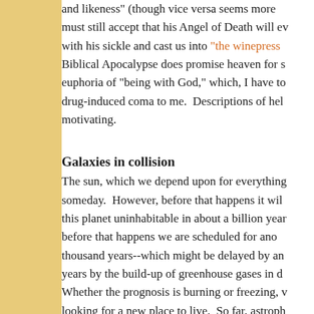and likeness" (though vice versa seems more must still accept that his Angel of Death will ev with his sickle and cast us into "the winepress Biblical Apocalypse does promise heaven for s euphoria of "being with God," which, I have to drug-induced coma to me.  Descriptions of hel motivating.
Galaxies in collision
The sun, which we depend upon for everything someday.  However, before that happens it wil this planet uninhabitable in about a billion year before that happens we are scheduled for ano thousand years--which might be delayed by an years by the build-up of greenhouse gases in d Whether the prognosis is burning or freezing, v looking for a new place to live.  So far, astroph